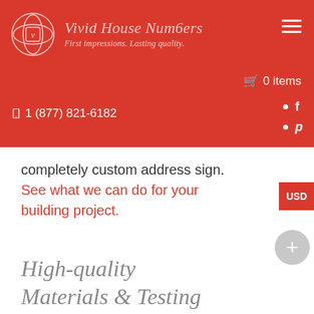Vivid House Num6ers — First impressions. Lasting quality.
0 items
1 (877) 821-6182
completely custom address sign. See what we can do for your building project.
High-quality Materials & Testing
We use the highest-quality materials to ensure our premium numbers won't chip, scratch, or fade. Our address